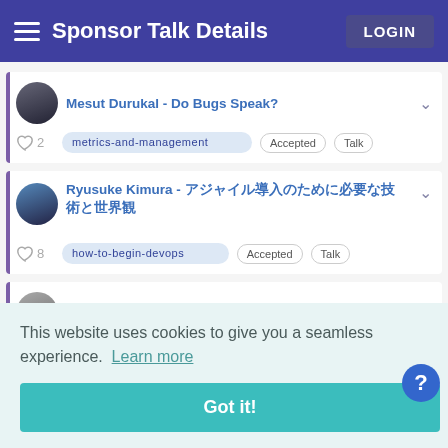Sponsor Talk Details | LOGIN
Mesut Durukal - Do Bugs Speak? | metrics-and-management | Accepted | Talk | ♡ 2
Ryusuke Kimura - [Japanese characters] | how-to-begin-devops | Accepted | Talk | ♡ 8
T. Alexander Lystad - [Video] Measuring
This website uses cookies to give you a seamless experience. Learn more
Got it!